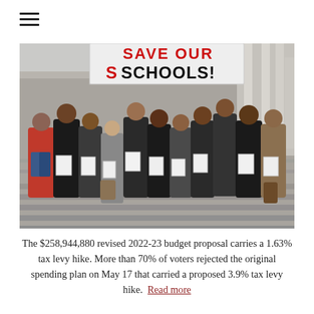[Figure (photo): Group of students and adults standing on outdoor steps holding papers in front of a large banner reading 'SAVE OUR SCHOOLS!' in red and black letters. The setting appears to be government building steps. Approximately 12 people visible, dressed in winter clothing.]
The $258,944,880 revised 2022-23 budget proposal carries a 1.63% tax levy hike. More than 70% of voters rejected the original spending plan on May 17 that carried a proposed 3.9% tax levy hike. Read more